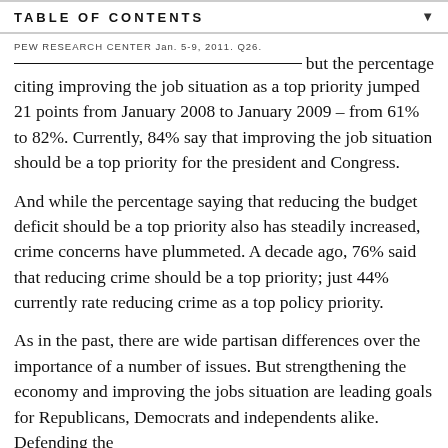TABLE OF CONTENTS
PEW RESEARCH CENTER Jan. 5-9, 2011. Q26.
but the percentage citing improving the job situation as a top priority jumped 21 points from January 2008 to January 2009 – from 61% to 82%. Currently, 84% say that improving the job situation should be a top priority for the president and Congress.
And while the percentage saying that reducing the budget deficit should be a top priority also has steadily increased, crime concerns have plummeted. A decade ago, 76% said that reducing crime should be a top priority; just 44% currently rate reducing crime as a top policy priority.
As in the past, there are wide partisan differences over the importance of a number of issues. But strengthening the economy and improving the jobs situation are leading goals for Republicans, Democrats and independents alike. Defending the